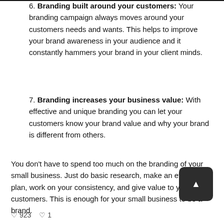6. Branding built around your customers: Your branding campaign always moves around your customers needs and wants. This helps to improve your brand awareness in your audience and it constantly hammers your brand in your client minds.
7. Branding increases your business value: With effective and unique branding you can let your customers know your brand value and why your brand is different from others.
You don't have to spend too much on the branding of your small business. Just do basic research, make an effective plan, work on your consistency, and give value to your customers. This is enough for your small business to be a brand.
♡ 923   ♡ 1